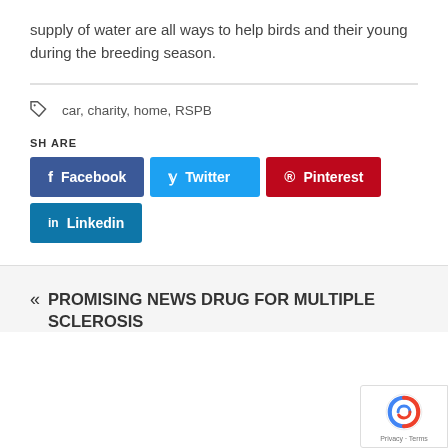supply of water are all ways to help birds and their young during the breeding season.
car, charity, home, RSPB
SHARE
[Figure (other): Social share buttons: Facebook, Twitter, Pinterest, Linkedin]
« PROMISING NEWS DRUG FOR MULTIPLE SCLEROSIS